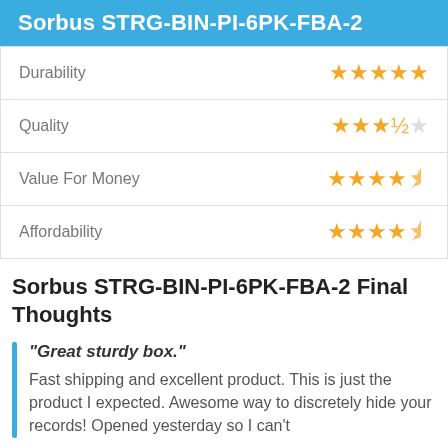Sorbus STRG-BIN-PI-6PK-FBA-2
| Category | Rating |
| --- | --- |
| Durability | 5/5 stars |
| Quality | 3.5/5 stars |
| Value For Money | 4.5/5 stars |
| Affordability | 4.5/5 stars |
Sorbus STRG-BIN-PI-6PK-FBA-2 Final Thoughts
"Great sturdy box."
Fast shipping and excellent product. This is just the product I expected. Awesome way to discretely hide your records! Opened yesterday so I can't